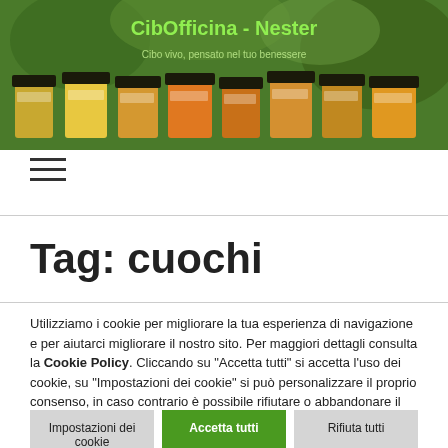[Figure (photo): Header banner showing jars of preserved foods on a green background with text 'CibOfficina - Nester' and subtitle in Italian]
[Figure (illustration): Hamburger menu icon with three horizontal lines]
Tag: cuochi
Utilizziamo i cookie per migliorare la tua esperienza di navigazione e per aiutarci migliorare il nostro sito. Per maggiori dettagli consulta la Cookie Policy.
Cliccando su "Accetta tutti" si accetta l'uso dei cookie, su "Impostazioni dei cookie" si può personalizzare il proprio consenso, in caso contrario è possibile rifiutare o abbandonare il sito.
Impostazioni dei cookie
Accetta tutti
Rifiuta tutti